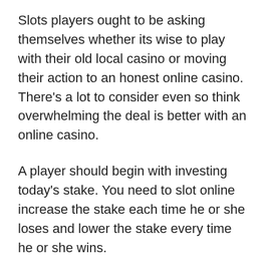Slots players ought to be asking themselves whether its wise to play with their old local casino or moving their action to an honest online casino. There's a lot to consider even so think overwhelming the deal is better with an online casino.
A player should begin with investing today's stake. You need to slot online increase the stake each time he or she loses and lower the stake every time he or she wins.
You should also decide how much money you are going to play with and then select a respectable slot that features a coin size to suit your budget. demo slot pp about online slots is you can find change the coin proportions the game you are playing by using a click of